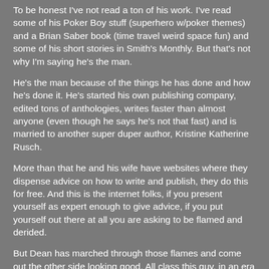To be honest I've not read a ton of his work. I've read some of his Poker Boy stuff (superhero w/poker themes) and a Brian Saber book (time travel weird space fun) and some of his short stories in Smith's Monthly. But that's not why I'm saying he's the man.
He's the man because of the things he has done and how he's done it. He's started his own publishing company, edited tons of anthologies, writes faster than almost anyone (even though he says he's not that fast) and is married to another super duper author, Kristine Katherine Rusch.
More than that he and his wife have websites where they dispense advice on how to write and publish, they do this for free. And this is the internet folks, if you present yourself as expert enough to give advice, if you put yourself out there at all you are asking to be flamed and derided.
But Dean has marched through those flames and come out the other side looking good. All class this guy, in an era where any disagreement turns into a classless shit show.